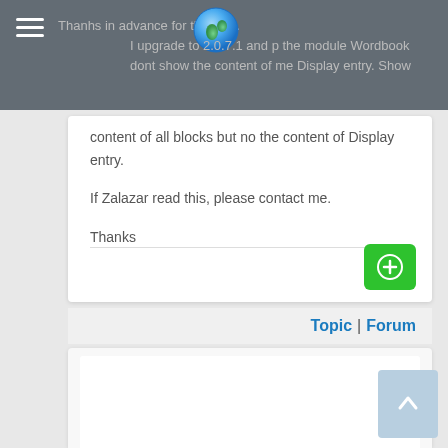Thanhs in advance for the help.
I upgrade to 2.0.7.1 and the module Wordbook dont show the content of the Display entry. Show content of all blocks but no the content of Display entry.

If Zalazar read this, please contact me.

Thanks
Topic | Forum
#2